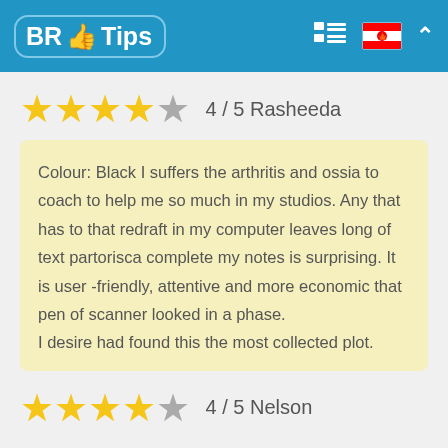BR Tips
★★★★☆ 4 / 5  Rasheeda
Colour: Black I suffers the arthritis and ossia to coach to help me so much in my studios. Any that has to that redraft in my computer leaves long of text partorisca complete my notes is surprising. It is user -friendly, attentive and more economic that pen of scanner looked in a phase.
I desire had found this the most collected plot.
★★★★☆ 4 / 5  Nelson